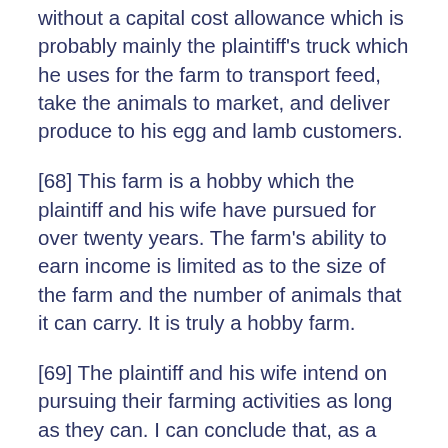without a capital cost allowance which is probably mainly the plaintiff's truck which he uses for the farm to transport feed, take the animals to market, and deliver produce to his egg and lamb customers.
[68] This farm is a hobby which the plaintiff and his wife have pursued for over twenty years. The farm's ability to earn income is limited as to the size of the farm and the number of animals that it can carry. It is truly a hobby farm.
[69] The plaintiff and his wife intend on pursuing their farming activities as long as they can. I can conclude that, as a result of the injuries suffered in the motor vehicle accident, the plaintiff may not be able pursue his farming activities with quite the vigor he has in the past.